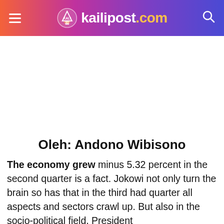kailipost.com
Oleh: Andono Wibisono
The economy grew minus 5.32 percent in the second quarter is a fact. Jokowi not only turn the brain so has that in the third had quarter all aspects and sectors crawl up. But also in the socio-political field, President